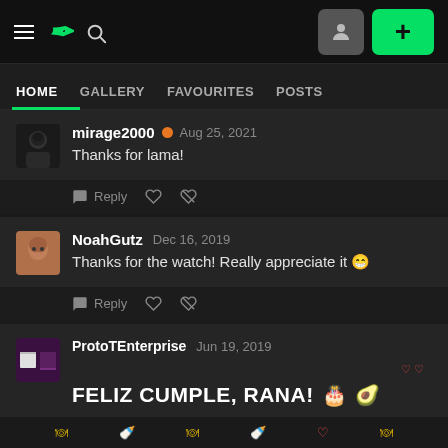[Figure (screenshot): DeviantArt top navigation bar with hamburger menu, DA logo, search icon, user profile button, and green plus button]
HOME  GALLERY  FAVOURITES  POSTS
mirage2000  Aug 25, 2021
Thanks for lama!
Reply
NoahGutz  Dec 16, 2019
Thanks for the watch! Really appreciate it 🎂
Reply
ProtoTEnterprise  Jun 19, 2019
FELIZ CUMPLE, RANA! 🎂 🧁